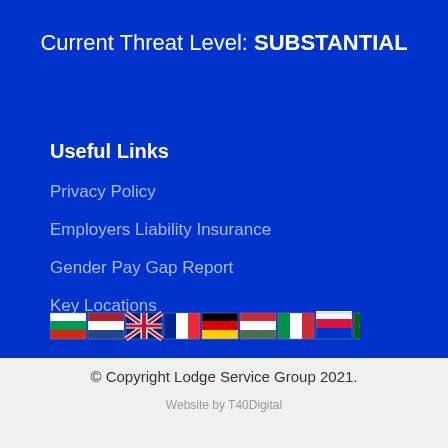Current Threat Level: SUBSTANTIAL
Useful Links
Privacy Policy
Employers Liability Insurance
Gender Pay Gap Report
Key Locations
[Figure (other): Row of country flag icons: Bulgaria, Netherlands, UK, France, Germany, Hungary, Italy, Poland, Portugal, Spain, Turkey]
© Copyright Lodge Service Group 2021.
Website by T40Digital